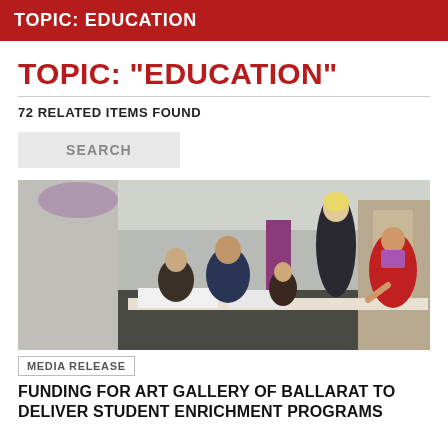TOPIC: EDUCATION
TOPIC: "EDUCATION"
72 RELATED ITEMS FOUND
SEARCH
[Figure (photo): People gathered around a table in a gallery or museum space; a woman standing, a man seated with two children, and a woman in a red jacket on the right gesturing at the table.]
MEDIA RELEASE
FUNDING FOR ART GALLERY OF BALLARAT TO DELIVER STUDENT ENRICHMENT PROGRAMS